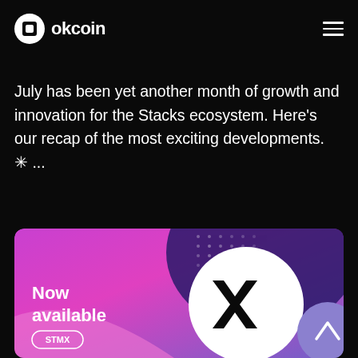okcoin
July has been yet another month of growth and innovation for the Stacks ecosystem. Here's our recap of the most exciting developments. ✳ ...
[Figure (illustration): OKCoin promotional banner showing 'Now available' text with STMX token label and a Stacks (STX) logo on a pink/purple gradient background]